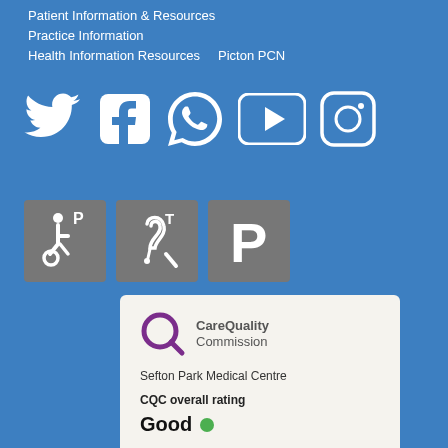Patient Information & Resources
Practice Information
Health Information Resources    Picton PCN
[Figure (infographic): Social media icons row: Twitter bird, Facebook 'f', WhatsApp phone bubble, YouTube play button, Instagram camera — all white on blue background]
[Figure (infographic): Three grey accessibility icons: disabled parking (wheelchair + P), hearing loop (ear + T), parking (P)]
[Figure (logo): Care Quality Commission logo with purple circle Q icon and text 'CareQuality Commission']
Sefton Park Medical Centre
CQC overall rating
Good ●
7 July 2017